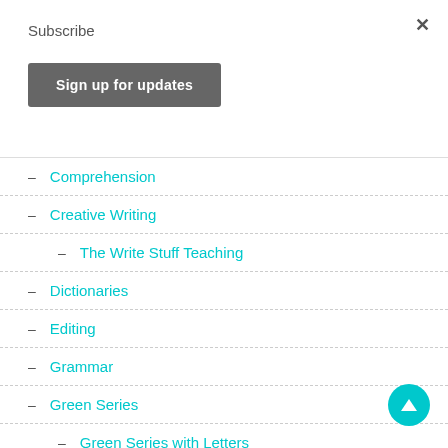×
Subscribe
Sign up for updates
– Comprehension
– Creative Writing
– The Write Stuff Teaching
– Dictionaries
– Editing
– Grammar
– Green Series
– Green Series with Letters
– Green Series with Words